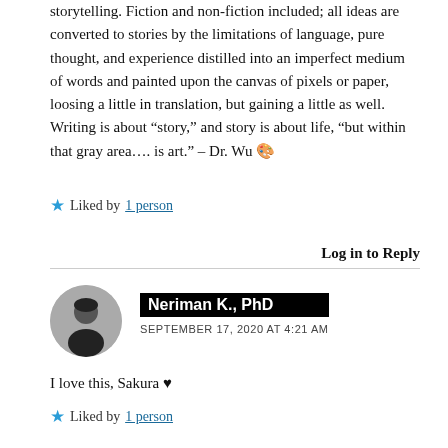storytelling. Fiction and non-fiction included; all ideas are converted to stories by the limitations of language, pure thought, and experience distilled into an imperfect medium of words and painted upon the canvas of pixels or paper, loosing a little in translation, but gaining a little as well. Writing is about “story,” and story is about life, “but within that gray area…. is art.” – Dr. Wu 🎨
★ Liked by 1 person
Log in to Reply
Neriman K., PhD
SEPTEMBER 17, 2020 AT 4:21 AM
I love this, Sakura ♥
★ Liked by 1 person